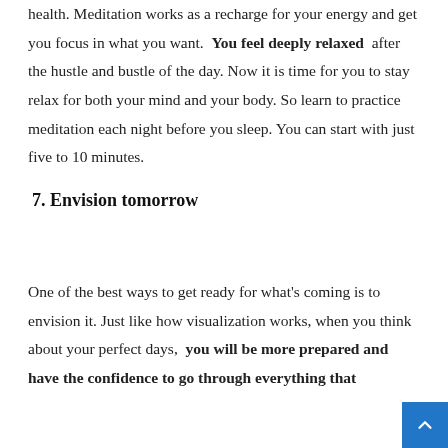Meditation is good for both your mental health and physical health. Meditation works as a recharge for your energy and get you focus in what you want. You feel deeply relaxed after the hustle and bustle of the day. Now it is time for you to stay relax for both your mind and your body. So learn to practice meditation each night before you sleep. You can start with just five to 10 minutes.
7. Envision tomorrow
One of the best ways to get ready for what's coming is to envision it. Just like how visualization works, when you think about your perfect days, you will be more prepared and have the confidence to go through everything that